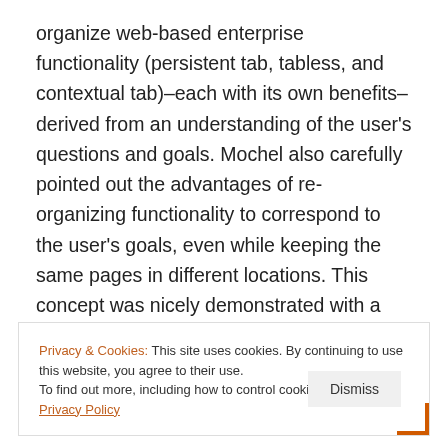organize web-based enterprise functionality (persistent tab, tabless, and contextual tab)–each with its own benefits–derived from an understanding of the user's questions and goals. Mochel also carefully pointed out the advantages of re-organizing functionality to correspond to the user's goals, even while keeping the same pages in different locations. This concept was nicely demonstrated with a multi-step animation that showed a Marketing application morphing from
Privacy & Cookies: This site uses cookies. By continuing to use this website, you agree to their use.
To find out more, including how to control cookies, see here: Privacy Policy